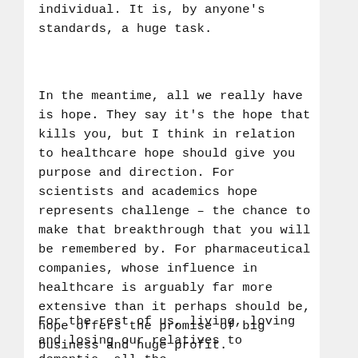individual. It is, by anyone's standards, a huge task.
In the meantime, all we really have is hope. They say it's the hope that kills you, but I think in relation to healthcare hope should give you purpose and direction. For scientists and academics hope represents challenge – the chance to make that breakthrough that you will be remembered by. For pharmaceutical companies, whose influence in healthcare is arguably far more extensive than it perhaps should be, hope offers the promise of big business and huge profit.
For the rest of us, living, loving and losing our relatives to dementia, all the